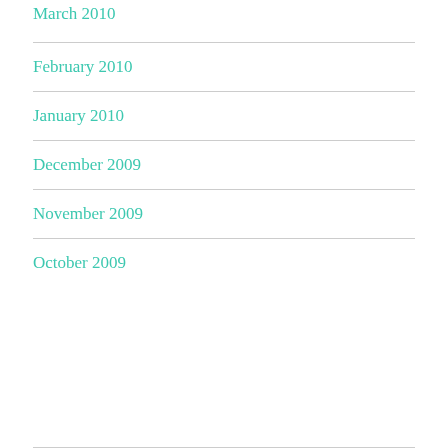March 2010
February 2010
January 2010
December 2009
November 2009
October 2009